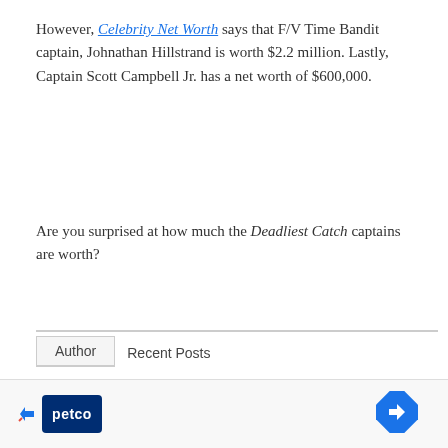However, Celebrity Net Worth says that F/V Time Bandit captain, Johnathan Hillstrand is worth $2.2 million. Lastly, Captain Scott Campbell Jr. has a net worth of $600,000.
Are you surprised at how much the Deadliest Catch captains are worth?
Author   Recent Posts
[Figure (photo): Circular profile photo of Georgia Makitalo, a woman with long reddish-brown hair]
Georgia Makitalo
Georgia Makitalo has been a freelance writer for 14 years. She enjoys writing about Hallmark, Lifetime, GAC, UPtv, and anything Austen. In her free time she enjoys traveling, hiking and
[Figure (screenshot): Advertisement bar at the bottom with Petco logo and a navigation arrow icon]